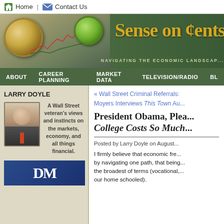Home | Contact Us
[Figure (screenshot): Sense on Cents website banner with compass, coin, stock chart, and tagline 'Navigating the Economic Landscape']
ABOUT | CAREER PLANNING | MARKET DATA | TELEVISION/RADIO | BLO...
LARRY DOYLE
A Wall Street veteran's views and instincts on the markets, economy, and all things financial.
« Wall Street Criminal Referrals:
Moyers Interviews This Town Au...
President Obama, Plea... College Costs So Much...
Posted by Larry Doyle on August...
I firmly believe that economic fre... by navigating one path, that being... the broadest of terms (vocational,... our home schooled).